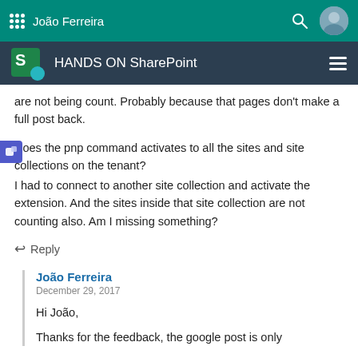João Ferreira
HANDS ON SharePoint
are not being count. Probably because that pages don't make a full post back.
Does the pnp command activates to all the sites and site collections on the tenant?
I had to connect to another site collection and activate the extension. And the sites inside that site collection are not counting also. Am I missing something?
↩ Reply
João Ferreira
December 29, 2017
Hi João,
Thanks for the feedback, the google post is only